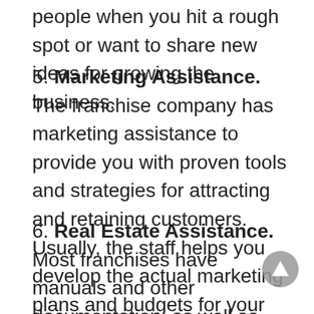people when you hit a rough spot or want to share new ideas for growing the business.
5. Marketing Assistance. The franchise company has marketing assistance to provide you with proven tools and strategies for attracting and retaining customers. Usually, the staff helps you develop the actual marketing plans and budgets for your grand opening as well as your ongoing efforts to market your business effectively.
6. Real Estate Assistance. Most franchises have manuals and other documentation, as well as staff, to help you find the right site and negotiate the best possible deal on your site. This is a very important advantage that can hold costs down and provide the best possible chance of success in any